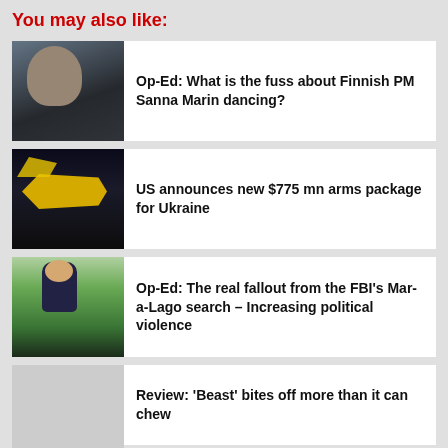You may also like:
Op-Ed: What is the fuss about Finnish PM Sanna Marin dancing?
US announces new $775 mn arms package for Ukraine
Op-Ed: The real fallout from the FBI's Mar-a-Lago search – Increasing political violence
Review: 'Beast' bites off more than it can chew